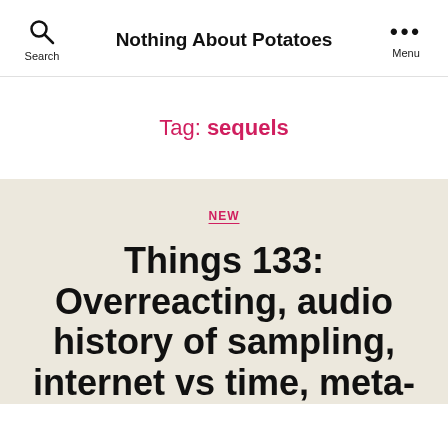Nothing About Potatoes
Tag: sequels
NEW
Things 133: Overreacting, audio history of sampling, internet vs time, meta- mote analysis